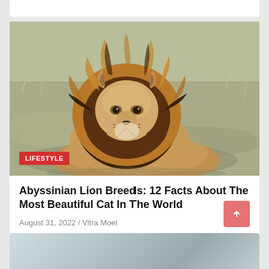[Figure (photo): A male lion with a full mane sitting in dry grass savanna, looking upward and to the right. The lion has a distinctive dark and golden mane. A red 'LIFESTYLE' badge is overlaid on the bottom-left of the image.]
Abyssinian Lion Breeds: 12 Facts About The Most Beautiful Cat In The World
August 31, 2022 / Vitra Moel
[Figure (photo): Partial view of a second article card with a blurry grey/blue animal photo, cropped at the bottom of the page.]